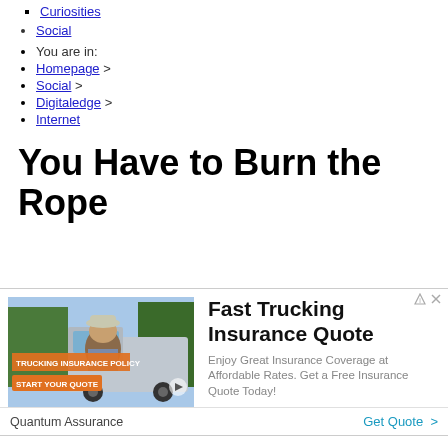Curiosities
Social
You are in:
Homepage >
Social >
Digitaledge >
Internet
You Have to Burn the Rope
[Figure (infographic): Advertisement banner for trucking insurance. Left side shows a photo of a smiling man in a baseball cap and plaid shirt standing in front of a truck, with overlay text 'TRUCKING INSURANCE POLICY' and 'START YOUR QUOTE' on an orange button. Right side shows text 'Fast Trucking Insurance Quote' and 'Enjoy Great Insurance Coverage at Affordable Rates. Get a Free Insurance Quote Today!']
Quantum Assurance    Get Quote >